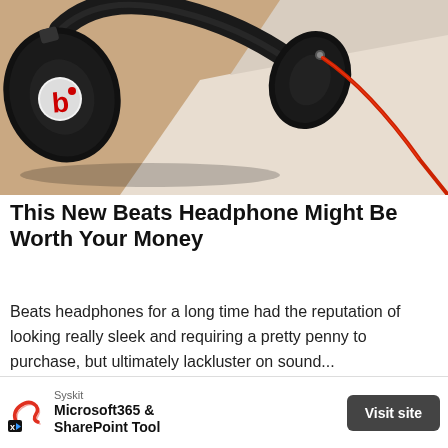[Figure (photo): Black Beats by Dre headphones lying on a wooden/white surface with a red audio cable, photographed close-up from above at an angle.]
This New Beats Headphone Might Be Worth Your Money
Beats headphones for a long time had the reputation of looking really sleek and requiring a pretty penny to purchase, but ultimately lackluster on sound...
[Figure (logo): Syskit advertisement banner with Syskit logo, text 'Microsoft365 & SharePoint Tool', and a 'Visit site' button. X/close icon overlay on top-left of ad.]